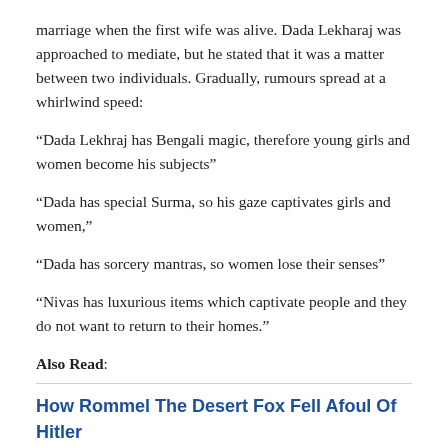marriage when the first wife was alive. Dada Lekharaj was approached to mediate, but he stated that it was a matter between two individuals. Gradually, rumours spread at a whirlwind speed:
“Dada Lekhraj has Bengali magic, therefore young girls and women become his subjects”
“Dada has special Surma, so his gaze captivates girls and women,”
“Dada has sorcery mantras, so women lose their senses”
“Nivas has luxurious items which captivate people and they do not want to return to their homes.”
Also Read:
How Rommel The Desert Fox Fell Afoul Of Hitler